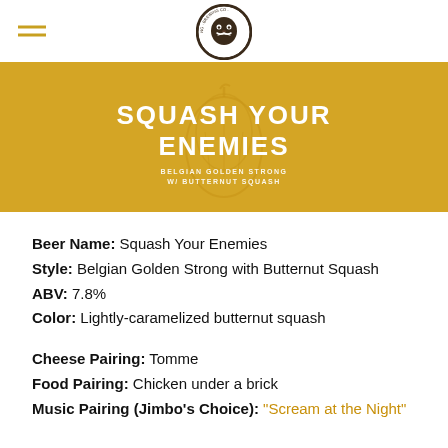[Figure (logo): Circular brewery logo with a skull/face illustration and text around the border]
[Figure (illustration): Golden/amber banner with text 'SQUASH YOUR ENEMIES – BELGIAN GOLDEN STRONG W/ BUTTERNUT SQUASH' and a butternut squash illustration]
Beer Name: Squash Your Enemies
Style: Belgian Golden Strong with Butternut Squash
ABV: 7.8%
Color: Lightly-caramelized butternut squash
Cheese Pairing: Tomme
Food Pairing: Chicken under a brick
Music Pairing (Jimbo's Choice): "Scream at the Night"